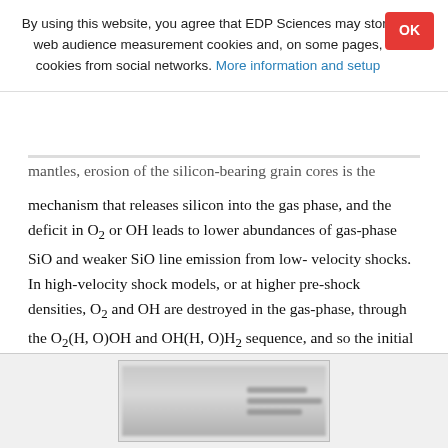By using this website, you agree that EDP Sciences may store web audience measurement cookies and, on some pages, cookies from social networks. More information and setup
mantles, erosion of the silicon-bearing grain cores is the mechanism that releases silicon into the gas phase, and the deficit in O2 or OH leads to lower abundances of gas-phase SiO and weaker SiO line emission from low-velocity shocks. In high-velocity shock models, or at higher pre-shock densities, O2 and OH are destroyed in the gas-phase, through the O2(H, O)OH and OH(H, O)H2 sequence, and so the initial composition of the grain mantles is less significant.
[Figure (other): Partially visible blurred figure/chart at the bottom of the page]